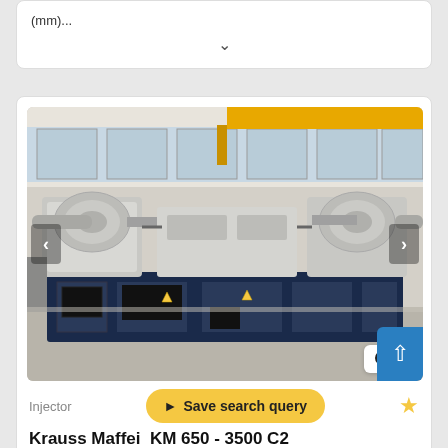(mm)...
[Figure (photo): Industrial injection molding machine (Krauss Maffei KM 650-3500 C2) in a factory hall, large white/grey machine on a blue base, photographed from the side showing dual injection units, overhead yellow crane visible in background.]
Injector
Save search query
Krauss Maffei  KM 650 - 3500 C2